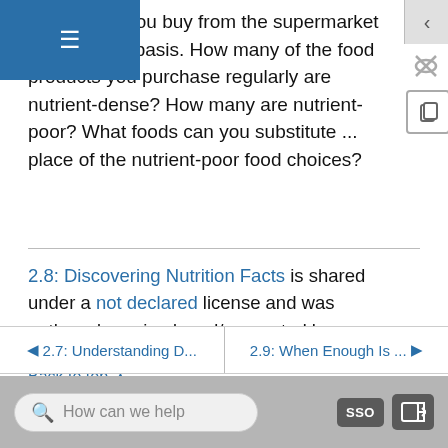all the food you buy from the supermarket on a regular basis. How many of the food products you purchase regularly are nutrient-dense? How many are nutrient-poor? What foods can you substitute ... place of the nutrient-poor food choices?
2.8: Discovering Nutrition Facts is shared under a not declared license and was authored, remixed, and/or curated by LibreTexts.
Back to top ▲
◄ 2.7: Understanding D...   |   2.9: When Enough Is ... ►
How can we help   SSO